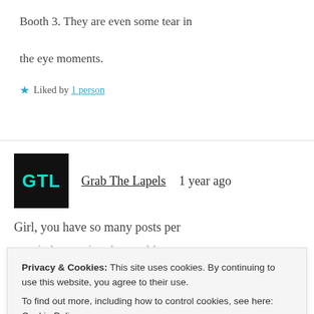Booth 3. They are even some tear in the eye moments.
★ Liked by 1 person
Grab The Lapels   1 year ago
Girl, you have so many posts per
Privacy & Cookies: This site uses cookies. By continuing to use this website, you agree to their use. To find out more, including how to control cookies, see here: Cookie Policy
Close and accept
worried you missed some blog